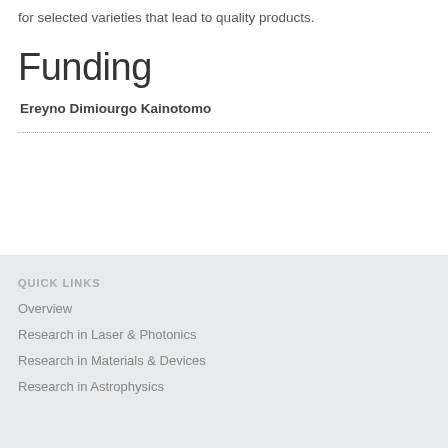for selected varieties that lead to quality products.
Funding
Ereyno Dimiourgo Kainotomo
QUICK LINKS
Overview
Research in Laser & Photonics
Research in Materials & Devices
Research in Astrophysics